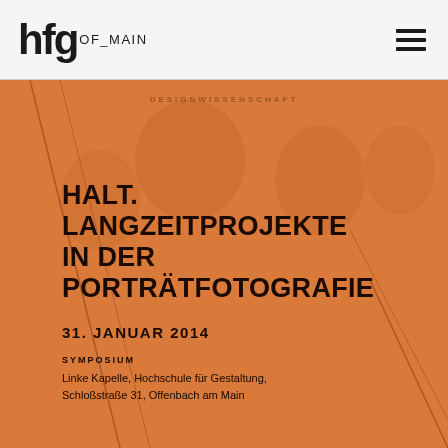hfg OF_MAIN
HALT. LANGZEITPROJEKTE IN DER PORTRÄTFOTOGRAFIE
31. JANUAR 2014
SYMPOSIUM
Linke Kapelle, Hochschule für Gestaltung, Schloßstraße 31, Offenbach am Main
[Figure (photo): Orange-tinted background photograph showing blurred portrait faces, with diagonal lines overlaid. Event poster for HALT. symposium at HfG Offenbach.]